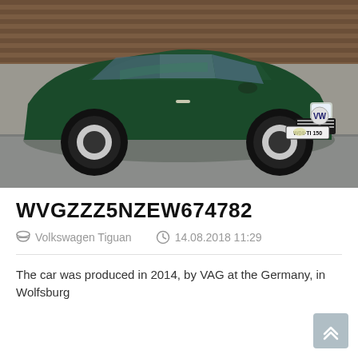[Figure (photo): A dark green Volkswagen Tiguan SUV parked in front of a building with a wooden facade. License plate reads W08 TI 150.]
WVGZZZ5NZEW674782
Volkswagen Tiguan   14.08.2018 11:29
The car was produced in 2014, by VAG at the Germany, in Wolfsburg